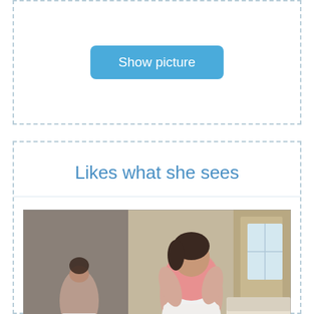[Figure (other): Show picture button in dashed border card at top]
Likes what she sees
[Figure (photo): Photo of a woman in white underwear looking at her reflection in a mirror]
[Figure (other): Show picture button at bottom]